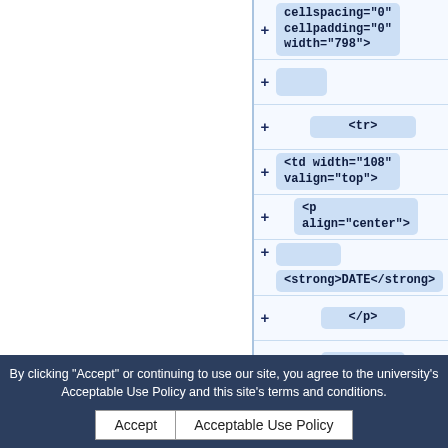[Figure (screenshot): A code tree/DOM explorer panel showing HTML markup with collapsible nodes. Visible nodes include: cellspacing=0 cellpadding=0 width=798 (first partial row), a collapsed node, <tr>, <td width=108 valign=top>, <p align=center>, <strong>DATE</strong>, </p>, </td>, and partially visible <td width=72 and other rows behind cookie banner.]
By clicking "Accept" or continuing to use our site, you agree to the university's Acceptable Use Policy and this site's terms and conditions.
Accept  Acceptable Use Policy